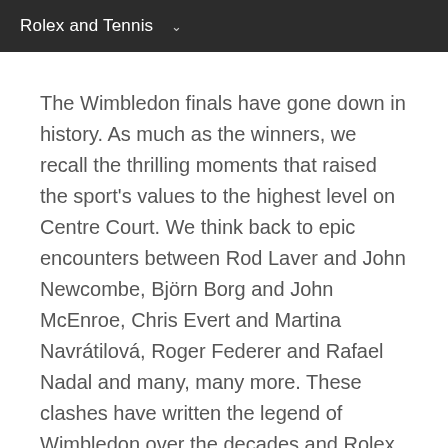Rolex and Tennis ∨
The Wimbledon finals have gone down in history. As much as the winners, we recall the thrilling moments that raised the sport's values to the highest level on Centre Court. We think back to epic encounters between Rod Laver and John Newcombe, Björn Borg and John McEnroe, Chris Evert and Martina Navrátilová, Roger Federer and Rafael Nadal and many, many more. These clashes have written the legend of Wimbledon over the decades and Rolex has witnessed it all from a front-row seat.